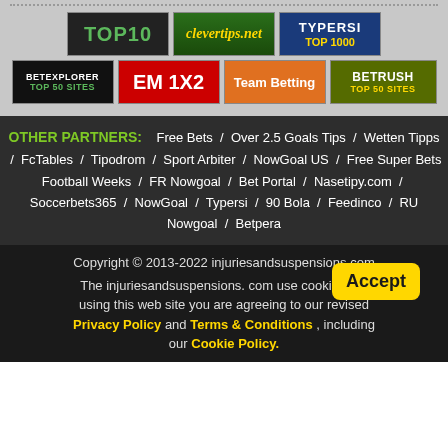[Figure (illustration): Row of partner site banner logos: TOP10, clevertips.net, TYPERSI TOP 1000]
[Figure (illustration): Row of partner site banner logos: BETEXPLORER TOP 50 SITES, EM 1X2, Team Betting, BETRUSH TOP 50 SITES]
OTHER PARTNERS: Free Bets / Over 2.5 Goals Tips / Wetten Tipps / FcTables / Tipodrom / Sport Arbiter / NowGoal US / Free Super Bets / Football Weeks / FR Nowgoal / Bet Portal / Nasetipy.com / Soccerbets365 / NowGoal / Typersi / 90 Bola / Feedinco / RU Nowgoal / Betpera
Copyright © 2013-2022 injuriesandsuspensions.com
The injuriesandsuspensions.com use cookies. By using this web site you are agreeing to our revised Privacy Policy and Terms & Conditions , including our Cookie Policy.